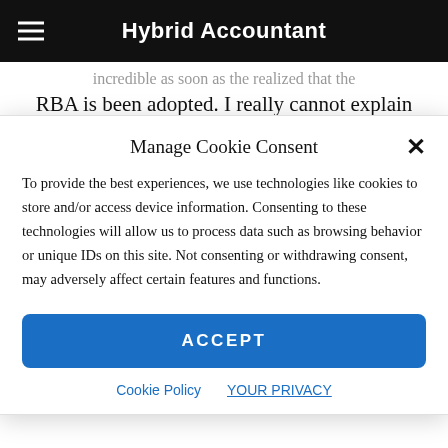Hybrid Accountant
incredible as soon as the realized that the RBA is been adopted. I really cannot explain
Manage Cookie Consent
To provide the best experiences, we use technologies like cookies to store and/or access device information. Consenting to these technologies will allow us to process data such as browsing behavior or unique IDs on this site. Not consenting or withdrawing consent, may adversely affect certain features and functions.
ACCEPT
Cookie Policy   YOUR PRIVACY
Employee vs Contractor
Learn the Risks of Worker Misclassification and How to Avoid Them. Download Our eBook. Globalization Partners